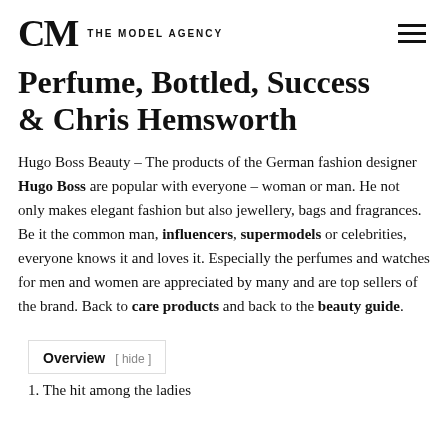CM THE MODEL AGENCY
Perfume, Bottled, Success & Chris Hemsworth
Hugo Boss Beauty – The products of the German fashion designer Hugo Boss are popular with everyone – woman or man. He not only makes elegant fashion but also jewellery, bags and fragrances. Be it the common man, influencers, supermodels or celebrities, everyone knows it and loves it. Especially the perfumes and watches for men and women are appreciated by many and are top sellers of the brand. Back to care products and back to the beauty guide.
Overview [ hide ]
1. The hit among the ladies